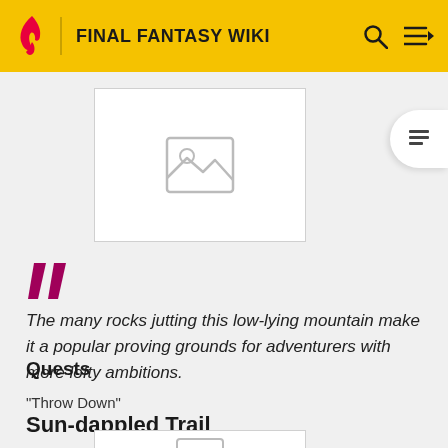FINAL FANTASY WIKI
[Figure (photo): Image placeholder with mountain icon (gray image placeholder box)]
The many rocks jutting this low-lying mountain make it a popular proving grounds for adventurers with more lofty ambitions.
Quests
"Throw Down"
Sun-dappled Trail
[Figure (photo): Partial image placeholder at bottom of page]